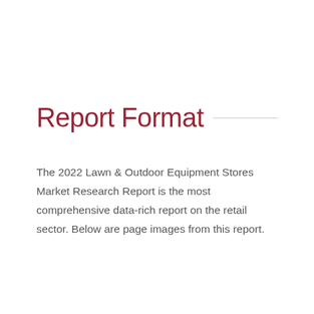Report Format
The 2022 Lawn & Outdoor Equipment Stores Market Research Report is the most comprehensive data-rich report on the retail sector. Below are page images from this report.